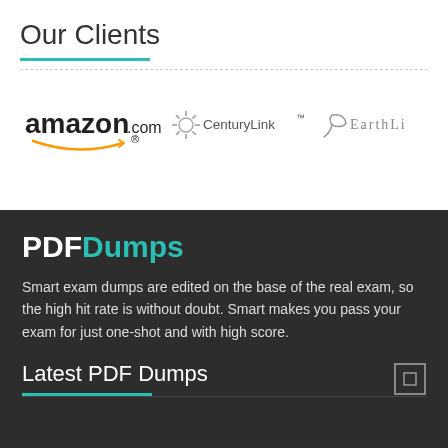Our Clients
[Figure (logo): amazon.com logo with arrow]
[Figure (logo): CenturyLink logo with sunburst icon]
[Figure (logo): EarthLi logo with leaf icon]
[Figure (logo): PDFDumps brand logo: PDF in white bold, Dumps in teal]
Smart exam dumps are edited on the base of the real exam, so the high hit rate is without doubt. Smart makes you pass your exam for just one-shot and with high score.
Latest PDF Dumps